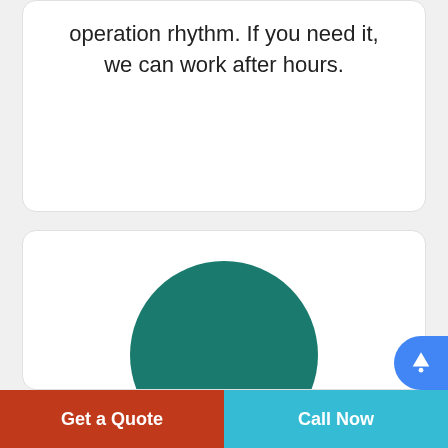operation rhythm. If you need it, we can work after hours.
[Figure (illustration): Teal/dark green filled circle used as a decorative icon for the Recycling service card]
Recycling
We care about our planet. We recycle all electronic and solid waste that result fro
Get a Quote
Call Now